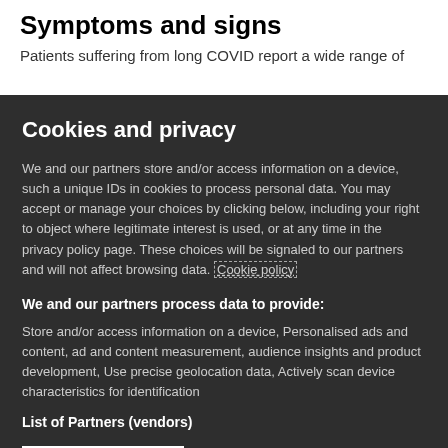Symptoms and signs
Patients suffering from long COVID report a wide range of
Cookies and privacy
We and our partners store and/or access information on a device, such a unique IDs in cookies to process personal data. You may accept or manage your choices by clicking below, including your right to object where legitimate interest is used, or at any time in the privacy policy page. These choices will be signaled to our partners and will not affect browsing data. Cookie policy
We and our partners process data to provide:
Store and/or access information on a device, Personalised ads and content, ad and content measurement, audience insights and product development, Use precise geolocation data, Actively scan device characteristics for identification
List of Partners (vendors)
I Accept